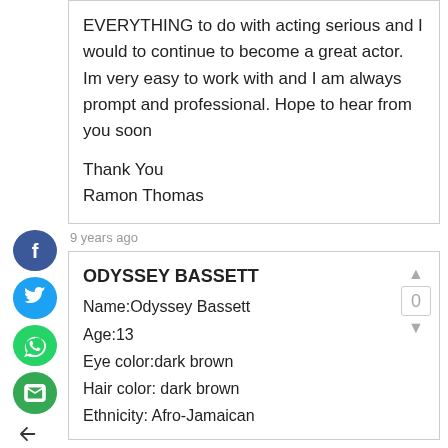EVERYTHING to do with acting serious and I would to continue to become a great actor. Im very easy to work with and I am always prompt and professional. Hope to hear from you soon

Thank You
Ramon Thomas
9 years ago
ODYSSEY BASSETT
Name:Odyssey Bassett
Age:13
Eye color:dark brown
Hair color: dark brown
Ethnicity: Afro-Jamaican